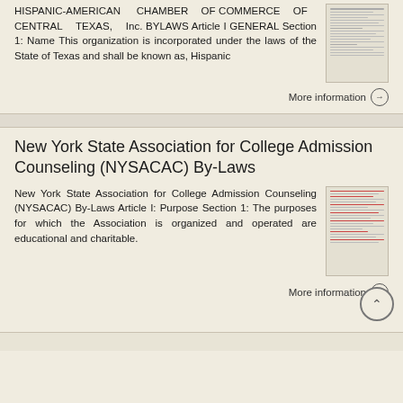HISPANIC-AMERICAN CHAMBER OF COMMERCE OF CENTRAL TEXAS, Inc. BYLAWS Article I GENERAL Section 1: Name This organization is incorporated under the laws of the State of Texas and shall be known as, Hispanic
[Figure (other): Thumbnail image of a document page with lines of text]
More information →
New York State Association for College Admission Counseling (NYSACAC) By-Laws
New York State Association for College Admission Counseling (NYSACAC) By-Laws Article I: Purpose Section 1: The purposes for which the Association is organized and operated are educational and charitable.
[Figure (other): Thumbnail image of a document page with lines of text, some in red]
More information →